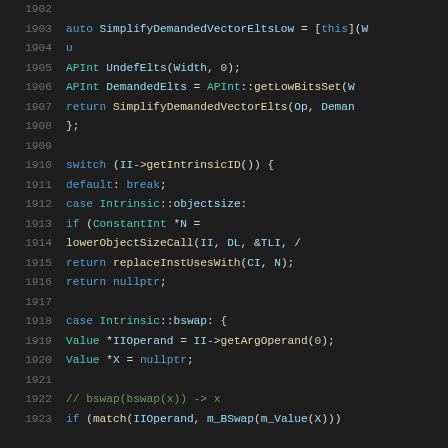[Figure (screenshot): Source code viewer showing C++ code lines 1902-1923 with syntax highlighting on a dark background. Code includes lambda definition for SimplifyDemandedVectorEltsLow, APInt variable declarations, switch statement on II->getIntrinsicID(), cases for objectsize and bswap intrinsics.]